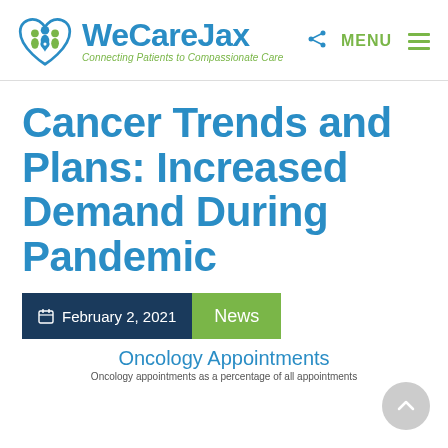[Figure (logo): WeCareJax logo with heart icon containing family silhouettes, tagline: Connecting Patients to Compassionate Care]
Cancer Trends and Plans: Increased Demand During Pandemic
February 2, 2021
News
Oncology Appointments
Oncology appointments as a percentage of all appointments